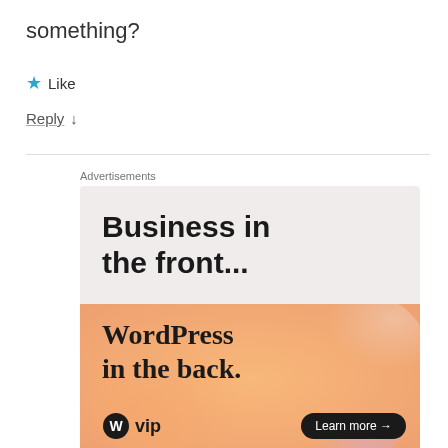something?
★ Like
Reply ↓
Advertisements
[Figure (screenshot): WordPress VIP advertisement banner. Top half shows 'Business in the front...' on light gray background. Bottom half shows colorful gradient with 'WordPress in the back.' text, WordPress VIP logo, and 'Learn more →' button.]